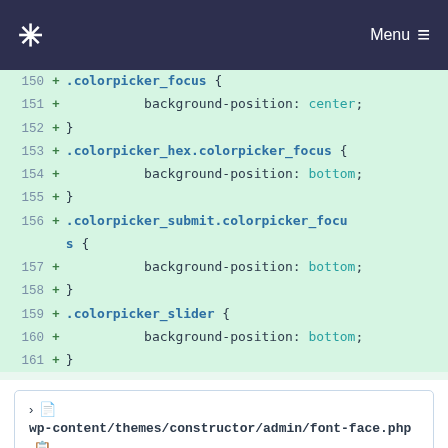* Menu ≡
[Figure (screenshot): Code diff showing CSS lines 150-161 with added lines for .colorpicker_focus, .colorpicker_hex.colorpicker_focus, .colorpicker_submit.colorpicker_focus, and .colorpicker_slider rules with background-position properties]
wp-content/themes/constructor/admin/font-face.php
| ... | ... | @@ -7,18 +7,24 @@ |
| --- | --- | --- |
| 7 | 7 | * @todo More flexible |
| 8 | 8 | */ |